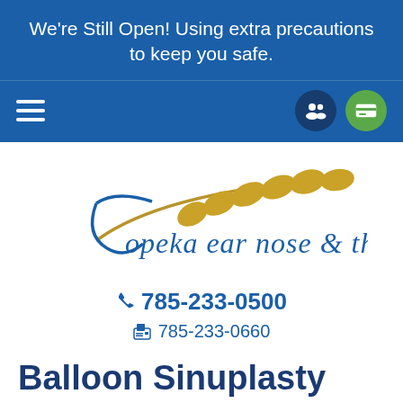We're Still Open! Using extra precautions to keep you safe.
[Figure (screenshot): Navigation bar with hamburger menu icon on left and two circular icons (people icon and credit card icon) on right]
[Figure (logo): Topeka Ear Nose & Throat logo with wheat/grain graphic in gold and blue cursive text]
785-233-0500
785-233-0660
Balloon Sinuplasty
If you're suffering from chronic sinusitis